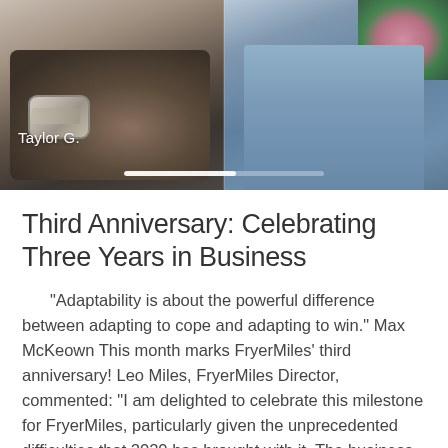[Figure (photo): Two men side by side. Left man has crossed arms showing tattoos and a watch, labeled 'Taylor G.' at the bottom left. Right man wearing a light blue t-shirt with pink flowers visible in background. A slider/progress bar is visible at the bottom center of the image.]
Third Anniversary: Celebrating Three Years in Business
“Adaptability is about the powerful difference between adapting to cope and adapting to win.” Max McKeown This month marks FryerMiles’ third anniversary! Leo Miles, FryerMiles Director, commented: “I am delighted to celebrate this milestone for FryerMiles, particularly given the unprecedented difficulties that 2020 has brought with it. The business has defied the odds